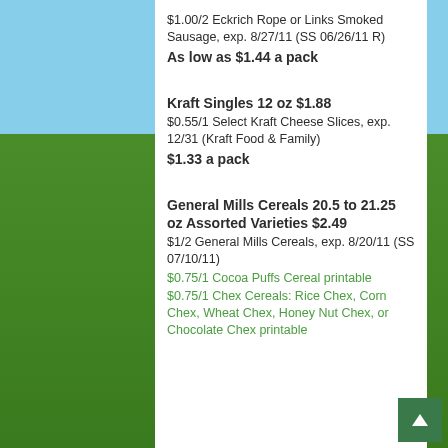$1.00/2 Eckrich Rope or Links Smoked Sausage, exp. 8/27/11 (SS 06/26/11 R) As low as $1.44 a pack
Kraft Singles 12 oz $1.88 — $0.55/1 Select Kraft Cheese Slices, exp. 12/31 (Kraft Food & Family) $1.33 a pack
General Mills Cereals 20.5 to 21.25 oz Assorted Varieties $2.49 — $1/2 General Mills Cereals, exp. 8/20/11 (SS 07/10/11) $0.75/1 Cocoa Puffs Cereal printable $0.75/1 Chex Cereals: Rice Chex, Corn Chex, Wheat Chex, Honey Nut Chex, or Chocolate Chex printable